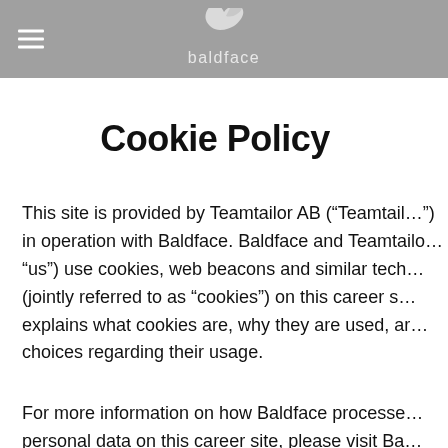baldface
Cookie Policy
This site is provided by Teamtailor AB (“Teamtailor”) in operation with Baldface. Baldface and Teamtailor (“us”) use cookies, web beacons and similar technologies (jointly referred to as “cookies”) on this career site. This explains what cookies are, why they are used, and your choices regarding their usage.
For more information on how Baldface processes personal data on this career site, please visit Baldface’s